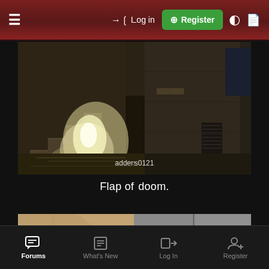≡  → Log in  ⊞ Register  ◐  ❑
[Figure (photo): Dark underground tunnel or drainage scene with concrete stairs, water cascading down, wet brick floor reflecting light, graffiti on walls. Watermark: adders0121]
Flap of doom.
[Figure (photo): Two side-by-side photos: left shows a sandy/brown concrete surface with green staining; right shows a wet concrete ceiling/tunnel with pipes and water marks]
Forums  What's New  Log In  Register